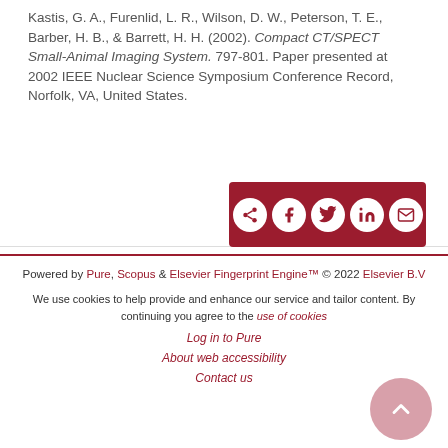Kastis, G. A., Furenlid, L. R., Wilson, D. W., Peterson, T. E., Barber, H. B., & Barrett, H. H. (2002). Compact CT/SPECT Small-Animal Imaging System. 797-801. Paper presented at 2002 IEEE Nuclear Science Symposium Conference Record, Norfolk, VA, United States.
[Figure (other): Dark red share bar with social media icons: share arrow, Facebook, Twitter, LinkedIn, email]
Powered by Pure, Scopus & Elsevier Fingerprint Engine™ © 2022 Elsevier B.V

We use cookies to help provide and enhance our service and tailor content. By continuing you agree to the use of cookies

Log in to Pure

About web accessibility

Contact us